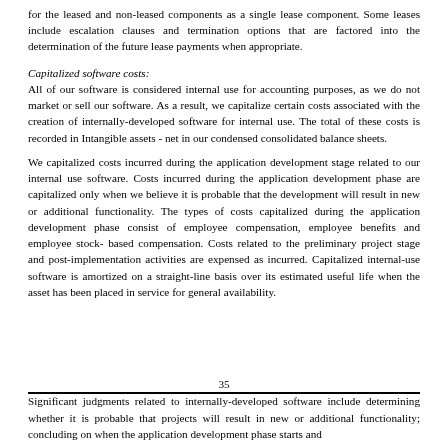for the leased and non-leased components as a single lease component. Some leases include escalation clauses and termination options that are factored into the determination of the future lease payments when appropriate.
Capitalized software costs:
All of our software is considered internal use for accounting purposes, as we do not market or sell our software. As a result, we capitalize certain costs associated with the creation of internally-developed software for internal use. The total of these costs is recorded in Intangible assets - net in our condensed consolidated balance sheets.
We capitalized costs incurred during the application development stage related to our internal use software. Costs incurred during the application development phase are capitalized only when we believe it is probable that the development will result in new or additional functionality. The types of costs capitalized during the application development phase consist of employee compensation, employee benefits and employee stock- based compensation. Costs related to the preliminary project stage and post-implementation activities are expensed as incurred. Capitalized internal-use software is amortized on a straight-line basis over its estimated useful life when the asset has been placed in service for general availability.
35
Significant judgments related to internally-developed software include determining whether it is probable that projects will result in new or additional functionality; concluding on when the application development phase starts and